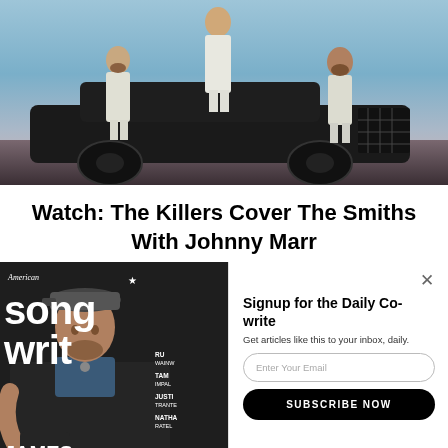[Figure (photo): Three men in white suits posing with a dark vintage car outdoors at dusk. One man stands on top of the car, the others stand on each side.]
Watch: The Killers Cover The Smiths With Johnny Marr
[Figure (photo): American Songwriter magazine cover featuring James Taylor seated in dark clothing wearing a cap.]
[Figure (screenshot): Email signup modal overlay with 'Signup for the Daily Co-write' heading, 'Get articles like this to your inbox, daily.' subtitle, an email input field, a 'SUBSCRIBE NOW' black button, and 'NO THANKS' text link.]